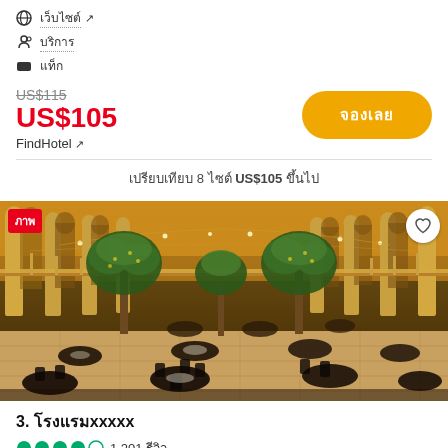เว็บไซต์ (link)
บริการ (link)
แท็ก
US$115 (strikethrough) US$105 FindHotel
เปรียบเทียบ 8 ไซต์ US$105 ขึ้นไป
[Figure (photo): Interior of an elegant restaurant or hotel atrium with arched columns, hanging string lights, large olive trees, and dining tables with dark chairs on a patterned marble floor.]
3. โรงแรมxxxxx
⬤⬤⬤⬤◯ 1,201 รีวิว
Roseman University of Health Sciences 2.6 กม.